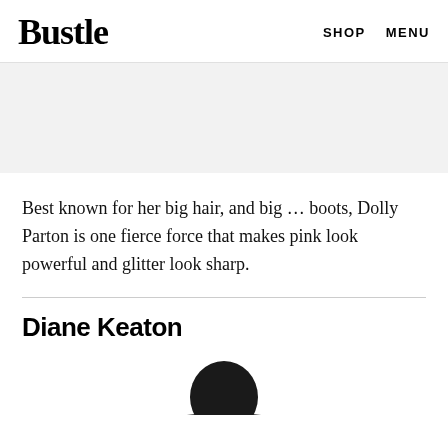Bustle  SHOP  MENU
[Figure (other): Gray advertisement banner area]
Best known for her big hair, and big … boots, Dolly Parton is one fierce force that makes pink look powerful and glitter look sharp.
Diane Keaton
[Figure (photo): Bottom portion of photo showing Diane Keaton wearing a black wide-brimmed hat]